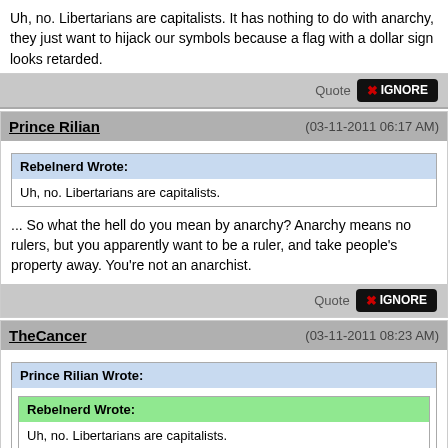Uh, no. Libertarians are capitalists. It has nothing to do with anarchy, they just want to hijack our symbols because a flag with a dollar sign looks retarded.
Prince Rilian (03-11-2011 06:17 AM)
Rebelnerd Wrote: Uh, no. Libertarians are capitalists.
... So what the hell do you mean by anarchy? Anarchy means no rulers, but you apparently want to be a ruler, and take people's property away. You're not an anarchist.
TheCancer (03-11-2011 08:23 AM)
Prince Rilian Wrote: Rebelnerd Wrote: Uh, no. Libertarians are capitalists. ... So what the hell do you mean by anarchy? Anarchy means no